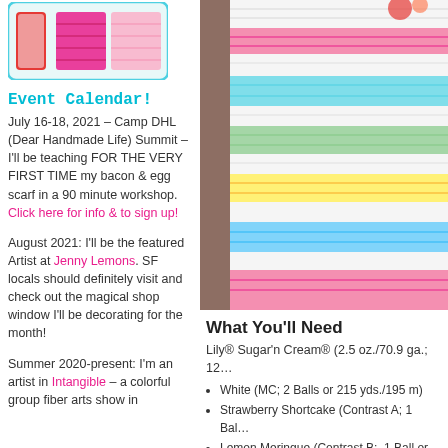[Figure (photo): Small decorative knitting/crochet swatch image with colorful yarn squares]
Event Calendar!
July 16-18, 2021 – Camp DHL (Dear Handmade Life) Summit – I'll be teaching FOR THE VERY FIRST TIME my bacon & egg scarf in a 90 minute workshop. Click here for info & to sign up!
August 2021: I'll be the featured Artist at Jenny Lemons. SF locals should definitely visit and check out the magical shop window I'll be decorating for the month!
Summer 2020-present: I'm an artist in Intangible – a colorful group fiber arts show in
[Figure (photo): Photo of a colorful striped crochet blanket or pillow in pastel rainbow colors including white, pink, yellow, blue, green stripes, on a wooden surface]
What You'll Need
Lily® Sugar'n Cream® (2.5 oz./70.9 ga.; 12…
White (MC; 2 Balls or 215 yds./195 m)
Strawberry Shortcake (Contrast A; 1 Bal…
Lemon Meringue (Contrast B;  1 Ball or …
Mint (Contrast C; 1 Ball or 15 yds.13 m)
Cupcake Blue (Contrast D; 1 Ball or 15 y…
Sherbet (Contrast E; 1 Ball or 15 yds./13…
Crochet Hook: Size U.S. G/6 (4 mm) or Si…